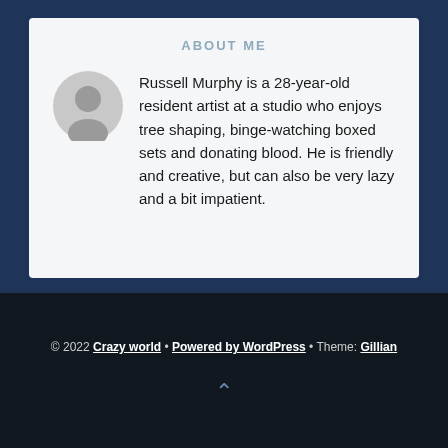ABOUT ME
Russell Murphy is a 28-year-old resident artist at a studio who enjoys tree shaping, binge-watching boxed sets and donating blood. He is friendly and creative, but can also be very lazy and a bit impatient.
© 2022 Crazy world • Powered by WordPress • Theme: Gillian